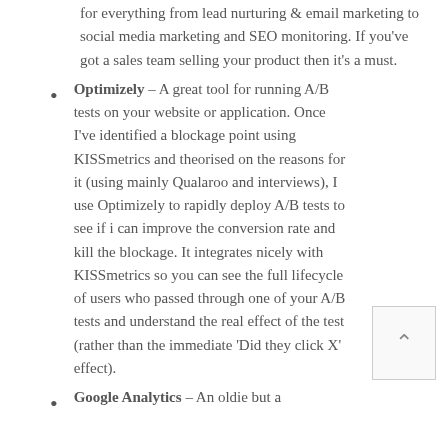for everything from lead nurturing & email marketing to social media marketing and SEO monitoring. If you've got a sales team selling your product then it's a must.
Optimizely – A great tool for running A/B tests on your website or application. Once I've identified a blockage point using KISSmetrics and theorised on the reasons for it (using mainly Qualaroo and interviews), I use Optimizely to rapidly deploy A/B tests to see if i can improve the conversion rate and kill the blockage. It integrates nicely with KISSmetrics so you can see the full lifecycle of users who passed through one of your A/B tests and understand the real effect of the test (rather than the immediate 'Did they click X' effect).
Google Analytics – An oldie but a